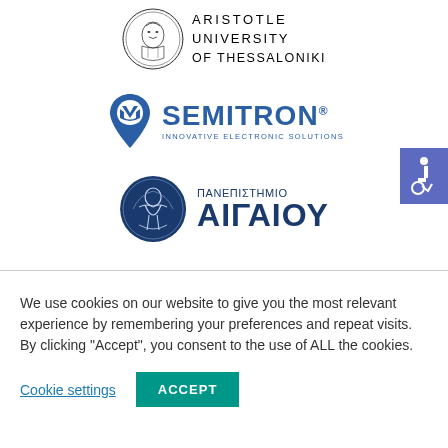[Figure (logo): Aristotle University of Thessaloniki seal and wordmark]
[Figure (logo): Semitron Innovative Electronic Solutions logo]
[Figure (logo): University of the Aegean (Panepistimio Aigaiou) logo]
We use cookies on our website to give you the most relevant experience by remembering your preferences and repeat visits. By clicking “Accept”, you consent to the use of ALL the cookies.
Cookie settings
ACCEPT